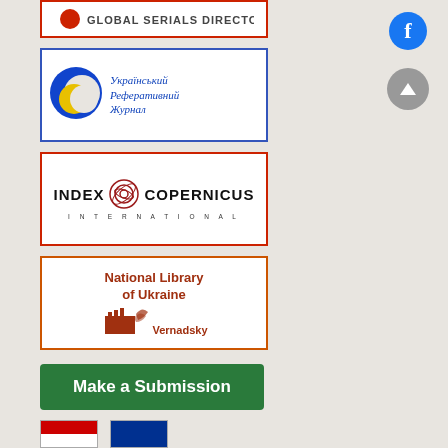[Figure (logo): Global Serials Directory logo box with red border]
[Figure (logo): Ukrainskyi Referatyvnyi Zhurnal logo with blue/yellow circular emblem and blue italic Cyrillic text, blue border]
[Figure (logo): Index Copernicus International logo with red circular emblem and black text, red border]
[Figure (logo): National Library of Ukraine Vernadsky logo with brown/orange text and building illustration, orange border]
[Figure (logo): Facebook icon - blue circle with white f]
[Figure (logo): Scroll-to-top arrow icon - grey circle with up arrow]
Make a Submission
[Figure (logo): Partial flag icons at bottom]